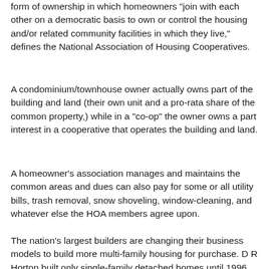form of ownership in which homeowners "join with each other on a democratic basis to own or control the housing and/or related community facilities in which they live," defines the National Association of Housing Cooperatives.
A condominium/townhouse owner actually owns part of the building and land (their own unit and a pro-rata share of the common property,) while in a "co-op" the owner owns a part interest in a cooperative that operates the building and land.
A homeowner's association manages and maintains the common areas and dues can also pay for some or all utility bills, trash removal, snow shoveling, window-cleaning, and whatever else the HOA members agree upon.
The nation's largest builders are changing their business models to build more multi-family housing for purchase. D R Horton built only single-family detached homes until 1996. Today, condos and townhomes are over 17 percent of the